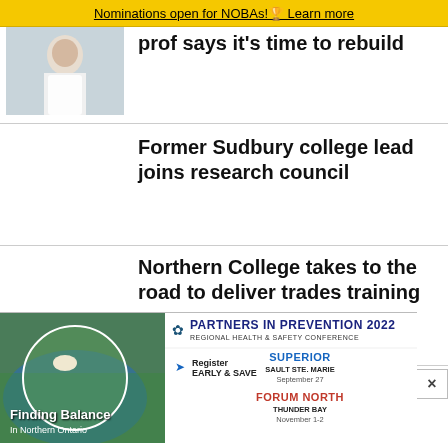Nominations open for NOBAs! Learn more
[Figure (photo): Person in white lab coat]
prof says it's time to rebuild
Former Sudbury college lead joins research council
Northern College takes to the road to deliver trades training
[Figure (infographic): Partners in Prevention 2022 Regional Health & Safety Conference advertisement. Finding Balance in Northern Ontario. Superior - Sault Ste. Marie September 27. Forum North - Thunder Bay November 1-2. Register Early & Save.]